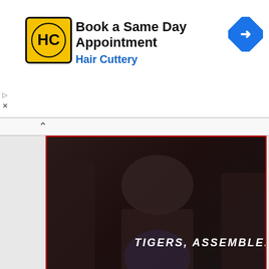[Figure (screenshot): Hair Cuttery advertisement banner with HC logo, 'Book a Same Day Appointment' text, 'Hair Cuttery' subtitle, and blue navigation diamond icon]
[Figure (photo): Comic-Con International panel poster for 'The Paper Tigers' showing 'TIGERS, ASSEMBLE.' text over dark background with figures, San Diego Comic-Con logo, event details for Kung-Fu panel July 23, 6:30-7:30PM Room 26AB, featuring cast and crew names, and _thepapertigers Instagram handle]
[Figure (screenshot): Bottom portion of a video or webpage showing two people (man and woman) in what appears to be a TV interview setting with gold/yellow border elements]